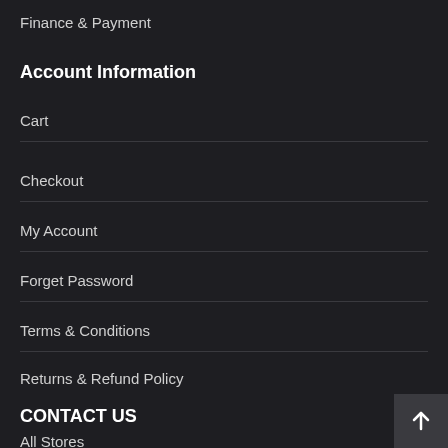Finance & Payment
Account Information
Cart
Checkout
My Account
Forget Password
Terms & Conditions
Returns & Refund Policy
CONTACT US
All Stores